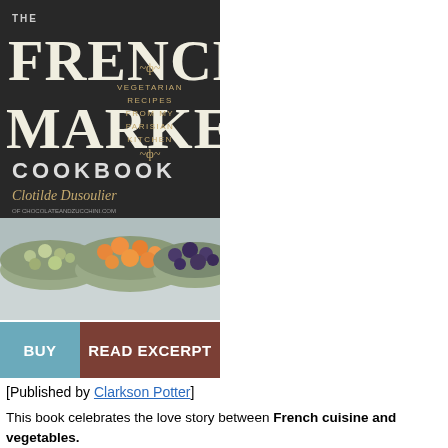[Figure (illustration): Book cover of 'The French Market Cookbook' by Clotilde Dusoulier, showing bold chalk-style lettering on dark background with subtitle 'Vegetarian Recipes from My Parisian Kitchen' and photos of bowls of olives, cherries, and blueberries at the bottom.]
[Published by Clarkson Potter]
This book celebrates the love story between French cuisine and vegetables.
It is admittedly a challenge to dine out as a vegetarian in France, where meat and fish are treated as the main character of any special-occasion dish, yet the French culinary repertoire is rife with